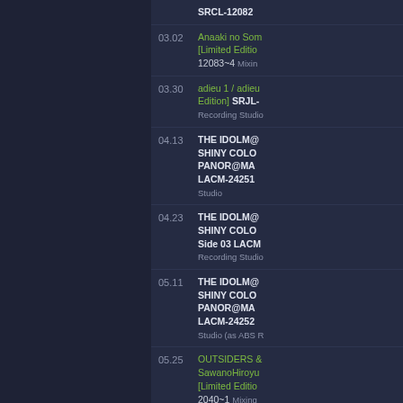SRCL-12082
03.02 Anaaki no Sora [Limited Edition] 12083~4 Mixing
03.30 adieu 1 / adieu [Limited Edition] SRJL- Recording Studio
04.13 THE IDOLM@ SHINY COLO PANOR@MA LACM-24251 Studio
04.23 THE IDOLM@ SHINY COLO Side 03 LACM Recording Studio
05.11 THE IDOLM@ SHINY COLO PANOR@MA LACM-24252 Studio (as ABS R
05.25 OUTSIDERS SawanoHiroyu [Limited Edition] 2040~1 Mixing
05.25 OUTSIDERS SawanoHiroy